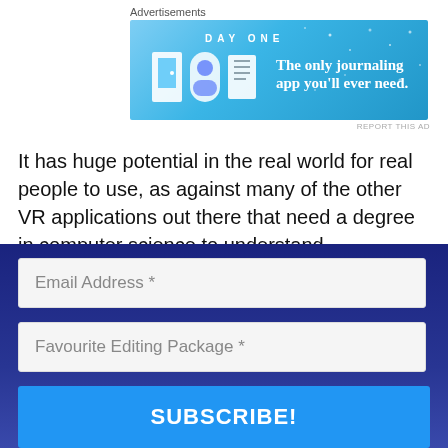Advertisements
[Figure (illustration): Day One journaling app advertisement banner with icons and slogan 'The only journaling app you'll ever need.']
It has huge potential in the real world for real people to use, as against many of the other VR applications out there that need a degree in computer science to understand.
It works happily with all of the consumer based 360° degree camera available in Australia (Samsung, GoPro, Ricoh and 360Fly plus the upcoming Vuze), is not expensive, supports any web browser and can be used (and controlled) with a
Email Address *
Favourite Editing Package *
SUBSCRIBE!